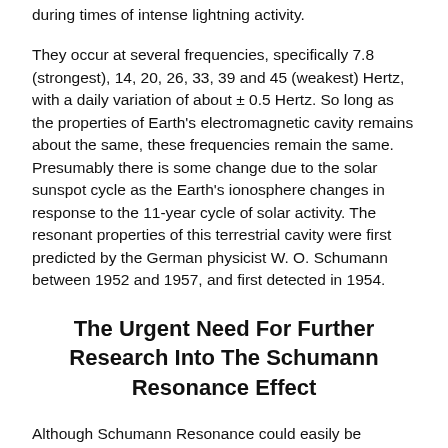during times of intense lightning activity.
They occur at several frequencies, specifically 7.8 (strongest), 14, 20, 26, 33, 39 and 45 (weakest) Hertz, with a daily variation of about ± 0.5 Hertz. So long as the properties of Earth's electromagnetic cavity remains about the same, these frequencies remain the same. Presumably there is some change due to the solar sunspot cycle as the Earth's ionosphere changes in response to the 11-year cycle of solar activity. The resonant properties of this terrestrial cavity were first predicted by the German physicist W. O. Schumann between 1952 and 1957, and first detected in 1954.
The Urgent Need For Further Research Into The Schumann Resonance Effect
Although Schumann Resonance could easily be